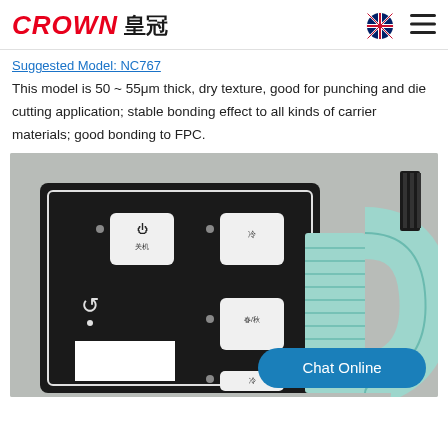CROWN 皇冠
Suggested Model: NC767
This model is 50 ~ 55μm thick, dry texture, good for punching and die cutting application; stable bonding effect to all kinds of carrier materials; good bonding to FPC.
[Figure (photo): Photo of a membrane switch keypad panel (black background with white labeled buttons showing Chinese characters) connected to a flexible printed circuit (FPC) ribbon cable, coiled. A 'Chat Online' button overlay is in the bottom-right.]